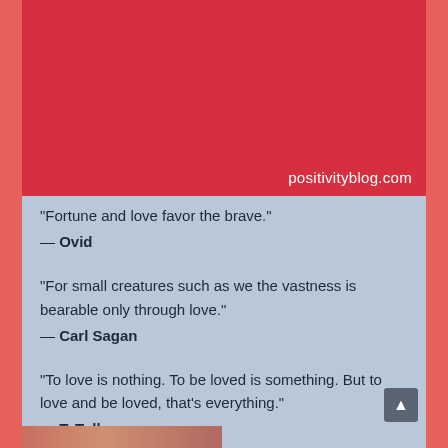[Figure (other): Red banner image area with positivityblog.com watermark]
“Fortune and love favor the brave.”
— Ovid
“For small creatures such as we the vastness is bearable only through love.”
— Carl Sagan
“To love is nothing. To be loved is something. But to love and be loved, that’s everything.”
— T. Tolls
“Love is not only something you feel, it is something you do.”
— David Wilkerson